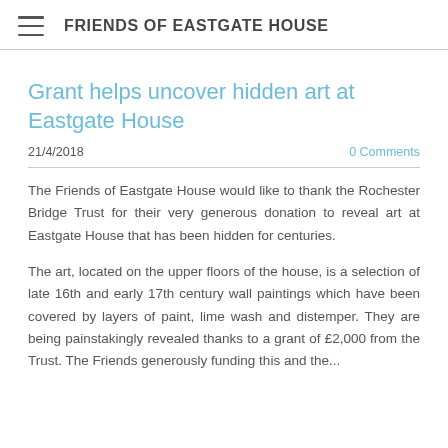FRIENDS OF EASTGATE HOUSE
Grant helps uncover hidden art at Eastgate House
21/4/2018   0 Comments
The Friends of Eastgate House would like to thank the Rochester Bridge Trust for their very generous donation to reveal art at Eastgate House that has been hidden for centuries.
The art, located on the upper floors of the house, is a selection of late 16th and early 17th century wall paintings which have been covered by layers of paint, lime wash and distemper. They are being painstakingly revealed thanks to a grant of £2,000 from the Trust. The Friends generously funding this and the...